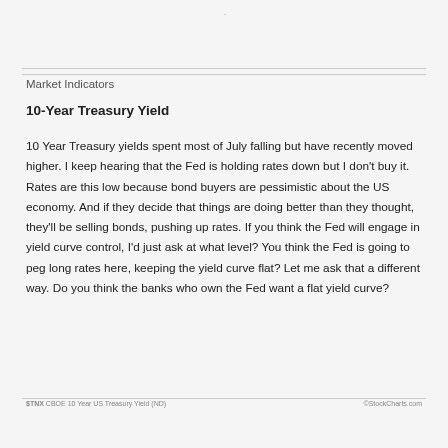Market Indicators
10-Year Treasury Yield
10 Year Treasury yields spent most of July falling but have recently moved higher. I keep hearing that the Fed is holding rates down but I don't buy it. Rates are this low because bond buyers are pessimistic about the US economy. And if they decide that things are doing better than they thought, they'll be selling bonds, pushing up rates. If you think the Fed will engage in yield curve control, I'd just ask at what level? You think the Fed is going to peg long rates here, keeping the yield curve flat? Let me ask that a different way. Do you think the banks who own the Fed want a flat yield curve?
$TNX CBOE 10 Year US Treasury Yield (ND)
©StockCharts.com